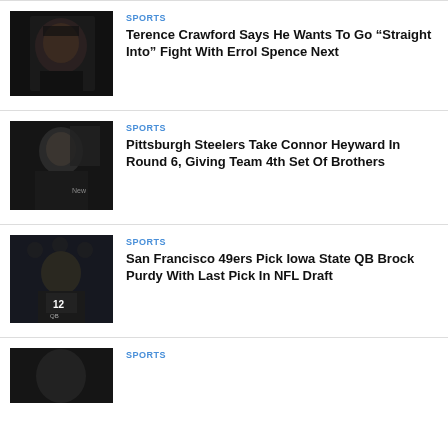[Figure (photo): Terence Crawford boxer photo, dark background]
SPORTS
Terence Crawford Says He Wants To Go “Straight Into” Fight With Errol Spence Next
[Figure (photo): Connor Heyward NFL combine photo, dark background]
SPORTS
Pittsburgh Steelers Take Connor Heyward In Round 6, Giving Team 4th Set Of Brothers
[Figure (photo): Brock Purdy QB #12 photo, NFL draft combine]
SPORTS
San Francisco 49ers Pick Iowa State QB Brock Purdy With Last Pick In NFL Draft
[Figure (photo): Partial photo of athlete, dark background]
SPORTS